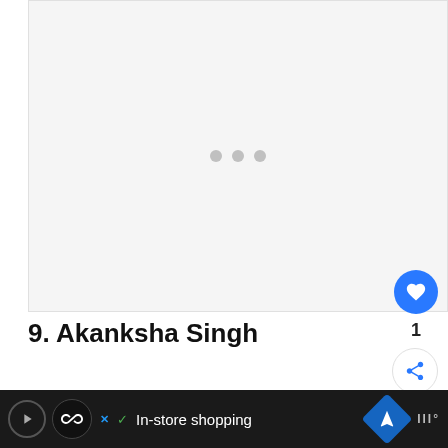[Figure (other): Loading image placeholder with three grey dots on a light grey background]
9. Akanksha Singh
One of the most beautiful sportswomen, Akanksha si...
[Figure (screenshot): Advertisement bar at the bottom: In-store shopping ad with navigation icon and widget icon]